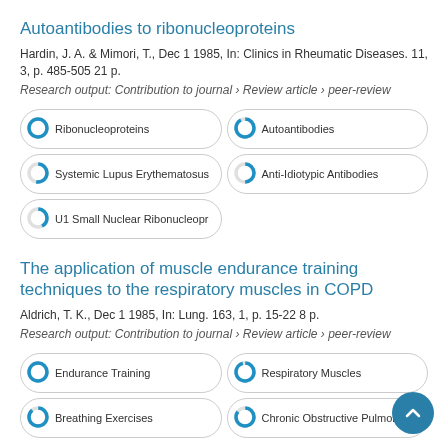Autoantibodies to ribonucleoproteins
Hardin, J. A. & Mimori, T., Dec 1 1985, In: Clinics in Rheumatic Diseases. 11, 3, p. 485-505 21 p.
Research output: Contribution to journal › Review article › peer-review
Ribonucleoproteins
Autoantibodies
Systemic Lupus Erythematosus
Anti-Idiotypic Antibodies
U1 Small Nuclear Ribonucleopr
The application of muscle endurance training techniques to the respiratory muscles in COPD
Aldrich, T. K., Dec 1 1985, In: Lung. 163, 1, p. 15-22 8 p.
Research output: Contribution to journal › Review article › peer-review
Endurance Training
Respiratory Muscles
Breathing Exercises
Chronic Obstructive Pulmonary